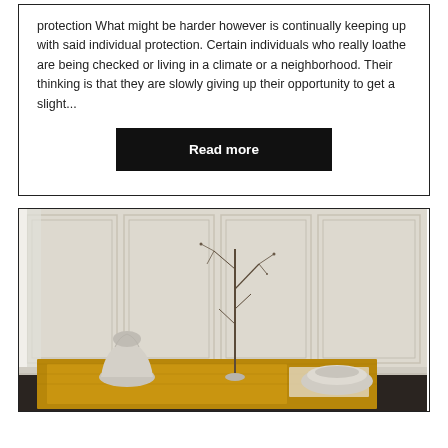protection What might be harder however is continually keeping up with said individual protection. Certain individuals who really loathe are being checked or living in a climate or a neighborhood. Their thinking is that they are slowly giving up their opportunity to get a slight...
Read more
[Figure (photo): Interior design photo showing a minimalist room with paneled walls, a golden-brown textured rug, a white sculptural chair/vase, a bare branching twig in a vase, and a white bowl-shaped object on the rug.]